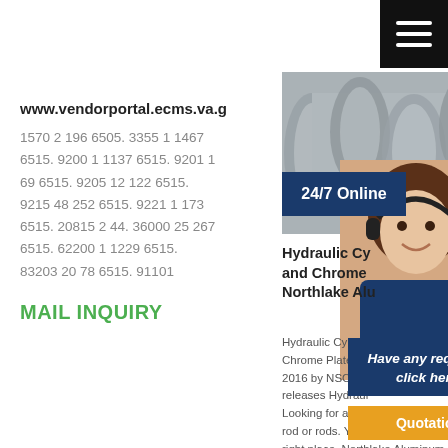[Figure (screenshot): Hamburger menu button (three white horizontal lines on black background) in top-right corner]
www.vendorportal.ecms.va.g
1570 2 196 6505. 3355 1 1467 6515. 9200 1 1137 6515. 9201 1 69 6515. 9205 12 122 6515. 9215 48 252 6515. 9221 1 173 6515. 20815 2 44. 36000 25 267 6515. 62200 1 1229 6515. 83203 20 78 6515. 91101
MAIL INQUIRY
[Figure (photo): Stack of gray metal/PVC pipes viewed from the end, industrial setting]
24/7 Online
[Figure (photo): Customer service agent — smiling woman wearing a headset]
Hydraulic Cy and Chrome Northlake Alu
Hydraulic Cylind Chrome Plated B 2016 by NSC ne releases Hydraul Looking for a hy rod or rods. You've come to the right place. Northlake Aluminum manufactures chrome plated
[Figure (screenshot): Dark blue box with italic text 'Have any requests, click here.' and an orange Quotation button below]